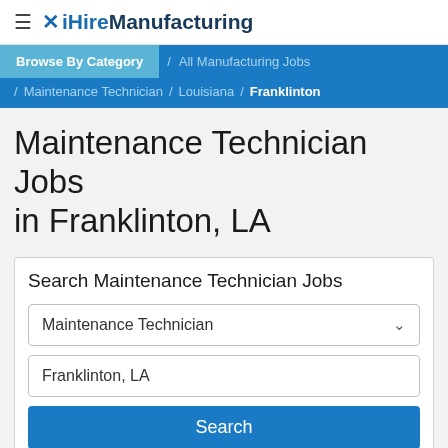≡ ✕ iHireManufacturing
Browse By Category / All Manufacturing Jobs / Maintenance Technician / Louisiana / Franklinton
Maintenance Technician Jobs in Franklinton, LA
Search Maintenance Technician Jobs
Maintenance Technician
Franklinton, LA
Search